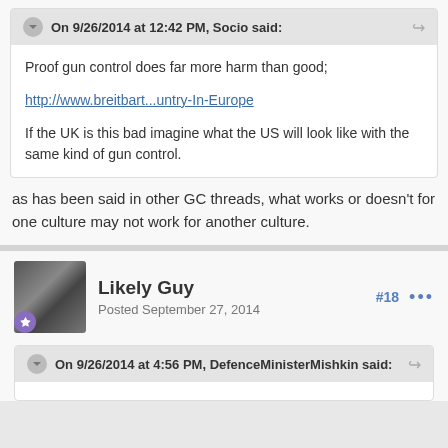On 9/26/2014 at 12:42 PM, Socio said:
Proof gun control does far more harm than good;

http://www.breitbart...untry-In-Europe

If the UK is this bad imagine what the US will look like with the same kind of gun control.
as has been said in other GC threads, what works or doesn't for one culture may not work for another culture.
Likely Guy
Posted September 27, 2014
#18
On 9/26/2014 at 4:56 PM, DefenceMinisterMishkin said: